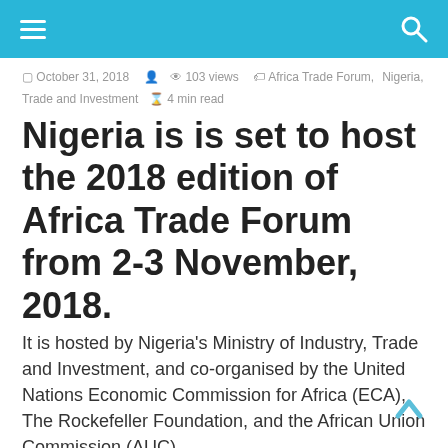≡  [navigation bar with search icon]
October 31, 2018  •  103 views  •  Africa Trade Forum, Nigeria, Trade and Investment  ⧗  4 min read
Nigeria is is set to host the 2018 edition of Africa Trade Forum from 2-3 November, 2018.
It is hosted by Nigeria's Ministry of Industry, Trade and Investment, and co-organised by the United Nations Economic Commission for Africa (ECA), The Rockefeller Foundation, and the African Union Commission (AUC).